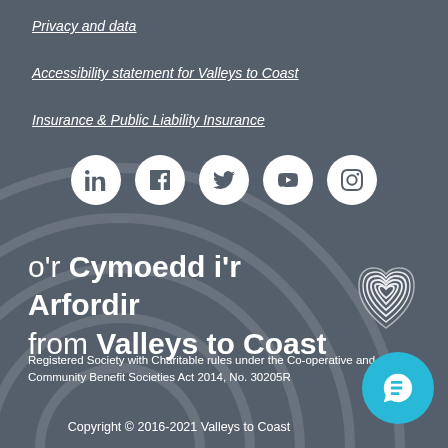Privacy and data
Accessibility statement for Valleys to Coast
Insurance & Public Liability Insurance
[Figure (infographic): Social media icons in white circles: LinkedIn, Facebook, Twitter, YouTube, Instagram]
o'r Cymoedd i'r Arfordir from Valleys to Coast
[Figure (logo): Fingerprint heart logo for Valleys to Coast]
Registered Society with Charitable rules under the Co-operative and Community Benefit Societies Act 2014, No. 30205R
Copyright © 2016-2021 Valleys to Coast